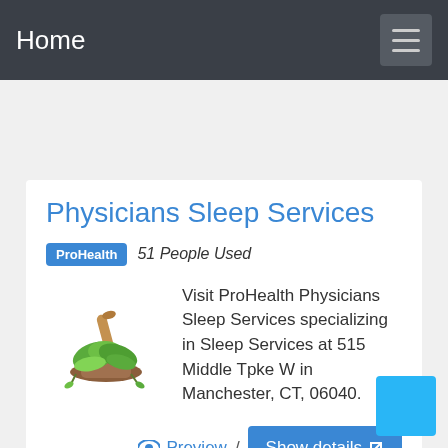Home
Physicians Sleep Services
ProHealth  51 People Used
[Figure (photo): Herb image showing green leaves and a wooden mortar and pestle]
Visit ProHealth Physicians Sleep Services specializing in Sleep Services at 515 Middle Tpke W in Manchester, CT, 06040.
Preview / Show details